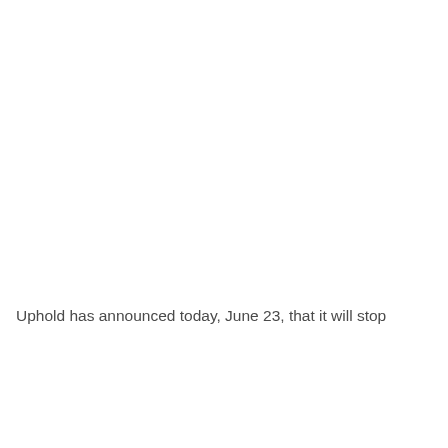Uphold has announced today, June 23, that it will stop